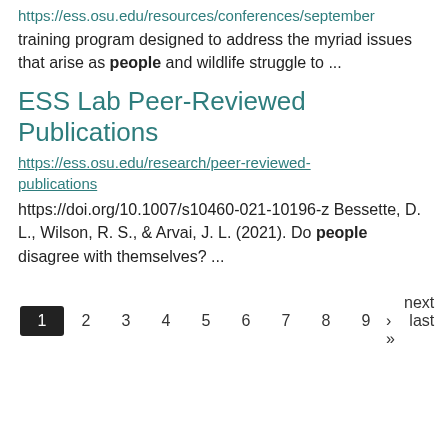https://ess.osu.edu/resources/conferences/september training program designed to address the myriad issues that arise as people and wildlife struggle to ...
ESS Lab Peer-Reviewed Publications
https://ess.osu.edu/research/peer-reviewed-publications
https://doi.org/10.1007/s10460-021-10196-z Bessette, D. L., Wilson, R. S., & Arvai, J. L. (2021). Do people disagree with themselves? ...
1 2 3 4 5 6 7 8 9  next › last »